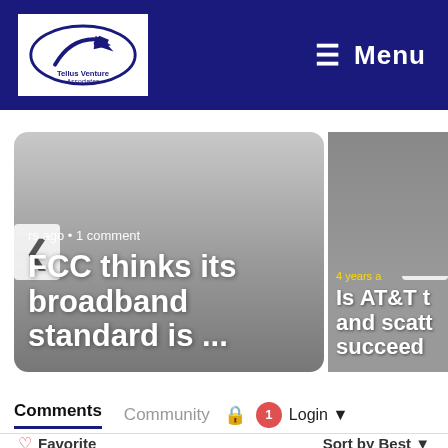[Figure (logo): Tellus Venture Associates logo with stylized arrow graphic in white box on dark navy header]
≡ Menu
[Figure (screenshot): Carousel card left: gray gradient card showing 'rs ago • 1 comment' meta and title 'FCC thinks its broadband standard is ...' in large white bold text with left arrow nav]
[Figure (screenshot): Carousel card right: partially visible card showing '4 years a' meta text in yellow and 'Is AT&T t and scatt succeed' in large white bold text with right arrow nav, with vehicle image]
Comments
Community
1
Login
♡ Favorite
Sort by Best
Start the discussion…
LOG IN WITH